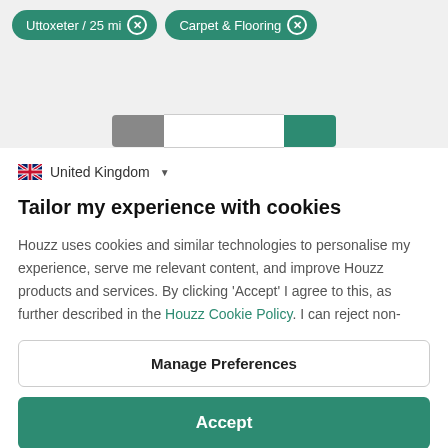[Figure (screenshot): Filter chips showing 'Uttoxeter / 25 mi' and 'Carpet & Flooring' with teal background and X buttons]
[Figure (screenshot): Pagination bar with gray left button, white middle bar, and teal right button on gray background]
United Kingdom
Tailor my experience with cookies
Houzz uses cookies and similar technologies to personalise my experience, serve me relevant content, and improve Houzz products and services. By clicking 'Accept' I agree to this, as further described in the Houzz Cookie Policy. I can reject non-
Manage Preferences
Accept